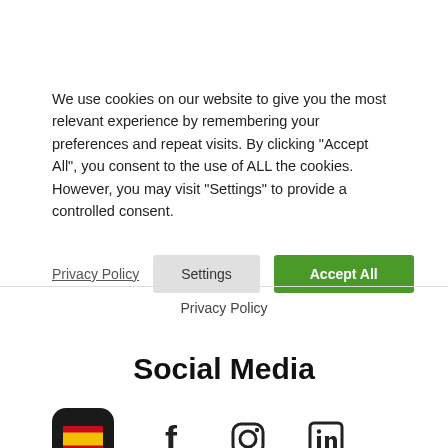We use cookies on our website to give you the most relevant experience by remembering your preferences and repeat visits. By clicking “Accept All”, you consent to the use of ALL the cookies. However, you may visit "Settings" to provide a controlled consent.
Privacy Policy | Settings | Accept All
Privacy Policy
Social Media
[Figure (logo): Spanish flag app icon (dark rounded square background with Spain flag emoji), Facebook logo, Instagram logo, LinkedIn logo]